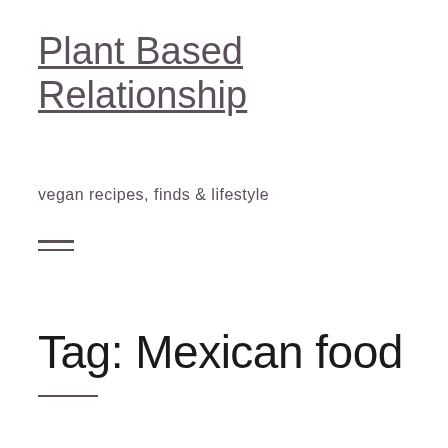Plant Based Relationship
vegan recipes, finds & lifestyle
≡
Tag: Mexican food